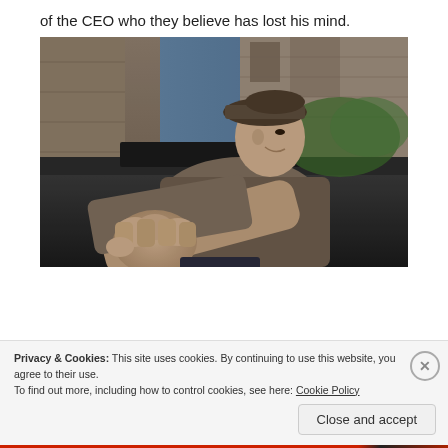of the CEO who they believe has lost his mind.
[Figure (photo): A man wearing a flat cap leaning out of a car window with his fist extended toward the camera, with a stone building visible in the background.]
Privacy & Cookies: This site uses cookies. By continuing to use this website, you agree to their use.
To find out more, including how to control cookies, see here: Cookie Policy